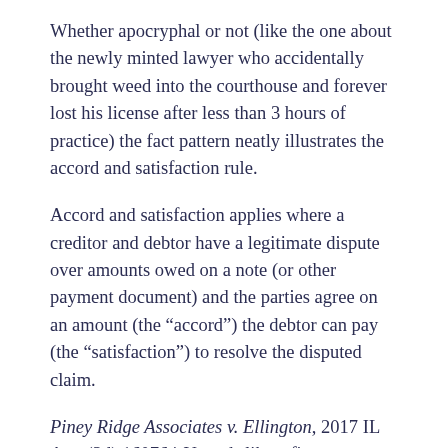Whether apocryphal or not (like the one about the newly minted lawyer who accidentally brought weed into the courthouse and forever lost his license after less than 3 hours of practice) the fact pattern neatly illustrates the accord and satisfaction rule.
Accord and satisfaction applies where a creditor and debtor have a legitimate dispute over amounts owed on a note (or other payment document) and the parties agree on an amount (the “accord”) the debtor can pay (the “satisfaction”) to resolve the disputed claim.
Piney Ridge Associates v. Ellington, 2017 IL App (3d) 160764-U reads like a first year contracts “hypo” come to life as it reflects the perils of creditor’s accepting partial payments where the payor recites